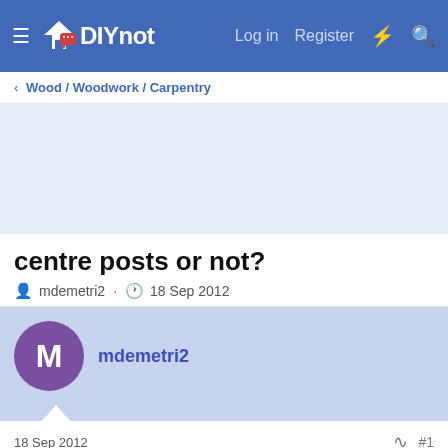DIYnot — Log in  Register
Wood / Woodwork / Carpentry
centre posts or not?
mdemetri2 · 18 Sep 2012
mdemetri2
18 Sep 2012  #1
Hi, if I have some timber (150mm x 47mm x 3 meters long), and I intend to fix it between two 75mmx75mm posts. Will I need to install a centre post? This is basically the open end of a lean to